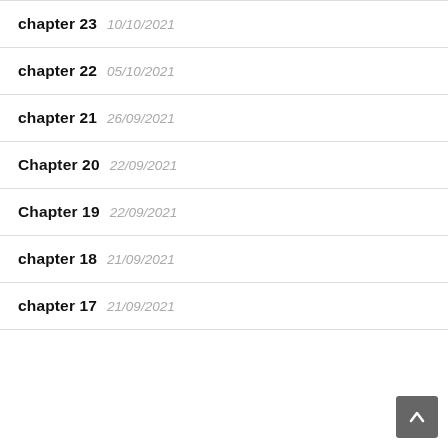chapter 23  10/10/2021
chapter 22  05/10/2021
chapter 21  26/09/2021
Chapter 20  22/09/2021
Chapter 19  22/09/2021
chapter 18  21/09/2021
chapter 17  21/09/2021